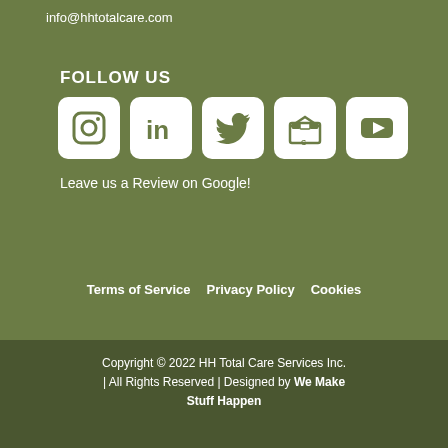info@hhtotalcare.com
FOLLOW US
[Figure (illustration): Row of 5 social media icons in white rounded boxes on green background: Instagram, LinkedIn, Twitter, Google My Business, YouTube]
Leave us a Review on Google!
Terms of Service   Privacy Policy   Cookies
Copyright © 2022 HH Total Care Services Inc. | All Rights Reserved | Designed by We Make Stuff Happen